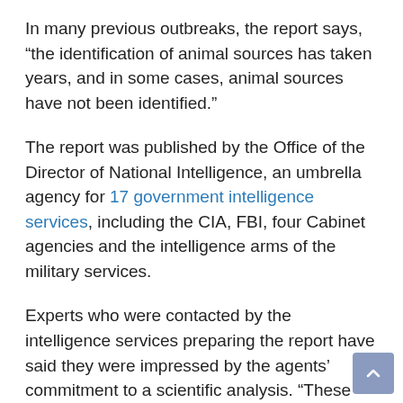In many previous outbreaks, the report says, “the identification of animal sources has taken years, and in some cases, animal sources have not been identified.”
The report was published by the Office of the Director of National Intelligence, an umbrella agency for 17 government intelligence services, including the CIA, FBI, four Cabinet agencies and the intelligence arms of the military services.
Experts who were contacted by the intelligence services preparing the report have said they were impressed by the agents’ commitment to a scientific analysis. “These folks were really knowledgeable, had PhDs in molecular biology,